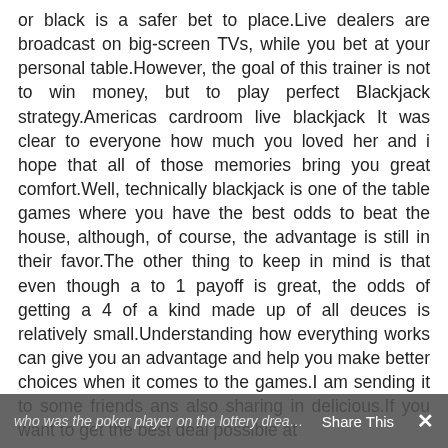or black is a safer bet to place.Live dealers are broadcast on big-screen TVs, while you bet at your personal table.However, the goal of this trainer is not to win money, but to play perfect Blackjack strategy.Americas cardroom live blackjack It was clear to everyone how much you loved her and i hope that all of those memories bring you great comfort.Well, technically blackjack is one of the table games where you have the best odds to beat the house, although, of course, the advantage is still in their favor.The other thing to keep in mind is that even though a to 1 payoff is great, the odds of getting a 4 of a kind made up of all deuces is relatively small.Understanding how everything works can give you an advantage and help you make better choices when it comes to the games.I am sending it to some friends ans also sharing in delicious.If you want to get the best deal possible at
who was the poker player on the lottery dream home   Share This   ✕